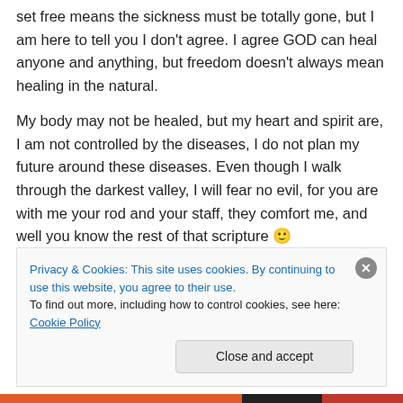set free means the sickness must be totally gone, but I am here to tell you I don't agree. I agree GOD can heal anyone and anything, but freedom doesn't always mean healing in the natural.
My body may not be healed, but my heart and spirit are, I am not controlled by the diseases, I do not plan my future around these diseases. Even though I walk through the darkest valley, I will fear no evil, for you are with me your rod and your staff, they comfort me, and well you know the rest of that scripture 🙂
Privacy & Cookies: This site uses cookies. By continuing to use this website, you agree to their use. To find out more, including how to control cookies, see here: Cookie Policy
Close and accept